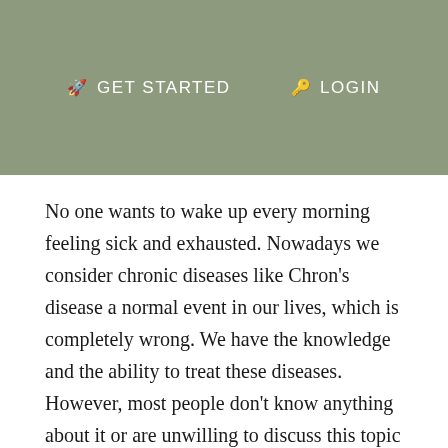GET STARTED   LOGIN
No one wants to wake up every morning feeling sick and exhausted. Nowadays we consider chronic diseases like Chron's disease a normal event in our lives, which is completely wrong. We have the knowledge and the ability to treat these diseases. However, most people don't know anything about it or are unwilling to discuss this topic with others because of embarrassment .
It's time for us as a society to overcome this problem.
Crohn's disease was first described in 1932¹, yet we are not any closer to finding a cure for this condition. Crohn's